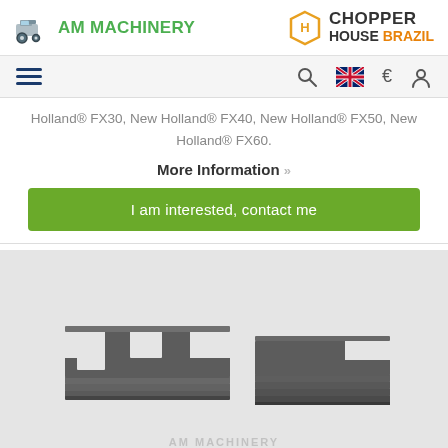[Figure (logo): AM Machinery logo with tractor icon and green text, and Chopper House Brazil logo with hexagon icon]
[Figure (screenshot): Navigation bar with hamburger menu, search icon, UK flag, euro sign, and user icon]
Holland® FX30, New Holland® FX40, New Holland® FX50, New Holland® FX60.
More Information »
I am interested, contact me
[Figure (photo): Two dark grey/black metal shim or clamp parts with notched slots, photographed on a white background with AM Machinery watermark]